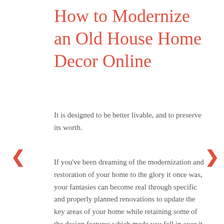How to Modernize an Old House Home Decor Online
It is designed to be better livable, and to preserve its worth.
If you've been dreaming of the modernization and restoration of your home to the glory it once was, your fantasies can become real through specific and properly planned renovations to update the key areas of your home while retaining some of the design features which made you fall in over it in the first place. This guide can help you refresh an